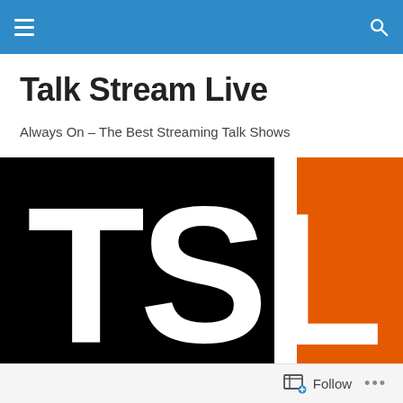Talk Stream Live — navigation header bar with hamburger menu and search icon
Talk Stream Live
Always On – The Best Streaming Talk Shows
[Figure (logo): TSL logo on black background — large white letters T, S and orange letter L on black rectangle]
TAGGED WITH BLUETOOTH AUDIO
Follow •••